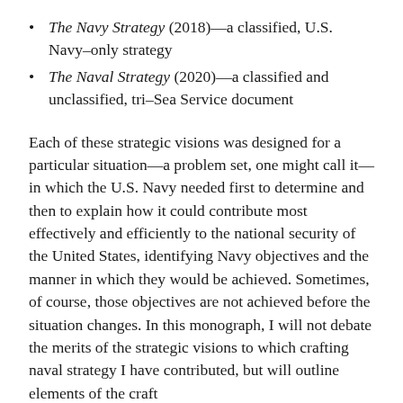The Navy Strategy (2018)—a classified, U.S. Navy–only strategy
The Naval Strategy (2020)—a classified and unclassified, tri–Sea Service document
Each of these strategic visions was designed for a particular situation—a problem set, one might call it—in which the U.S. Navy needed first to determine and then to explain how it could contribute most effectively and efficiently to the national security of the United States, identifying Navy objectives and the manner in which they would be achieved. Sometimes, of course, those objectives are not achieved before the situation changes. In this monograph, I will not debate the merits of the strategic visions to which crafting naval strategy I have contributed, but will outline elements of the craft